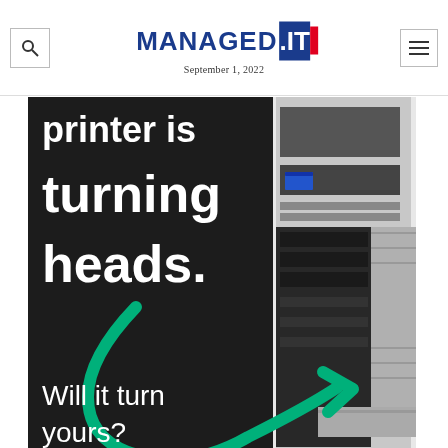MANAGED.IT — September 1, 2022
[Figure (photo): Advertisement image showing a dark background with large white bold text reading 'printer is turning heads.' with a green arrow graphic pointing right, and 'Will it turn yours?' text at the bottom. A black and white printer/copier machine is visible on the right side of the image.]